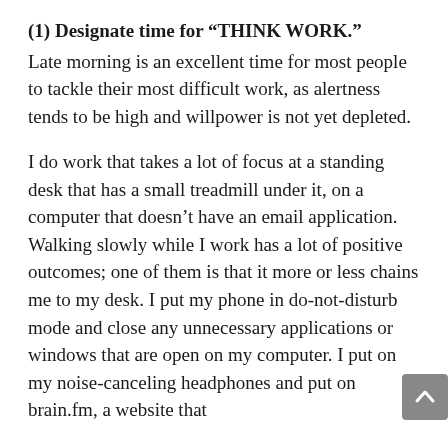(1) Designate time for “THINK WORK.”
Late morning is an excellent time for most people to tackle their most difficult work, as alertness tends to be high and willpower is not yet depleted.
I do work that takes a lot of focus at a standing desk that has a small treadmill under it, on a computer that doesn’t have an email application. Walking slowly while I work has a lot of positive outcomes; one of them is that it more or less chains me to my desk. I put my phone in do-not-disturb mode and close any unnecessary applications or windows that are open on my computer. I put on my noise-canceling headphones and put on brain.fm, a website that